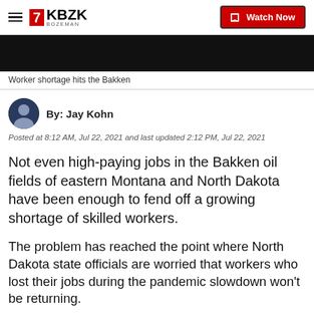KBZK BOZEMAN | Watch Now
[Figure (screenshot): Dark video thumbnail]
Worker shortage hits the Bakken
By: Jay Kohn
Posted at 8:12 AM, Jul 22, 2021 and last updated 2:12 PM, Jul 22, 2021
Not even high-paying jobs in the Bakken oil fields of eastern Montana and North Dakota have been enough to fend off a growing shortage of skilled workers.
The problem has reached the point where North Dakota state officials are worried that workers who lost their jobs during the pandemic slowdown won't be returning.